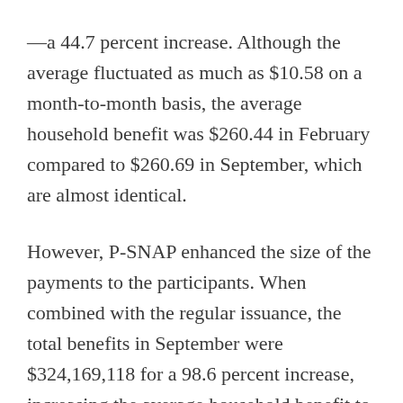—a 44.7 percent increase. Although the average fluctuated as much as $10.58 on a month-to-month basis, the average household benefit was $260.44 in February compared to $260.69 in September, which are almost identical.
However, P-SNAP enhanced the size of the payments to the participants. When combined with the regular issuance, the total benefits in September were $324,169,118 for a 98.6 percent increase, increasing the average household benefit to $357.03. Note that the average...